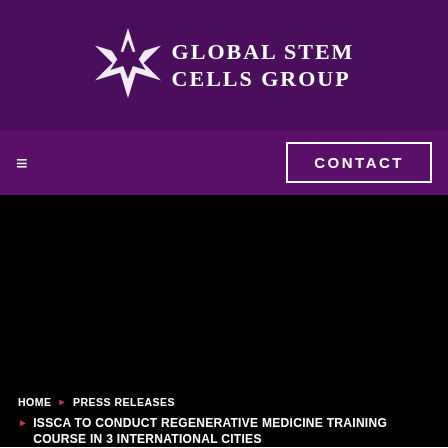[Figure (logo): Global Stem Cells Group logo with star/asterisk symbol and serif text]
≡
CONTACT
HOME ▶ PRESS RELEASES
▶ ISSCA TO CONDUCT REGENERATIVE MEDICINE TRAINING COURSE IN 3 INTERNATIONAL CITIES